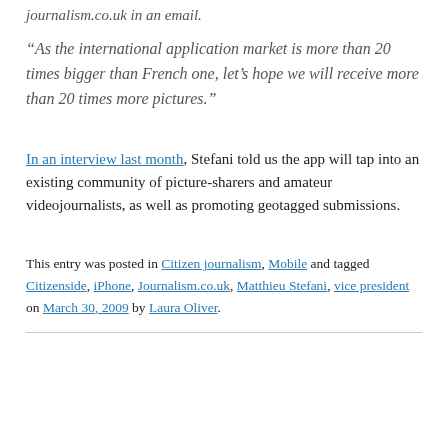journalism.co.uk in an email.
“As the international application market is more than 20 times bigger than French one, let’s hope we will receive more than 20 times more pictures.”
In an interview last month, Stefani told us the app will tap into an existing community of picture-sharers and amateur videojournalists, as well as promoting geotagged submissions.
This entry was posted in Citizen journalism, Mobile and tagged Citizenside, iPhone, Journalism.co.uk, Matthieu Stefani, vice president on March 30, 2009 by Laura Oliver.